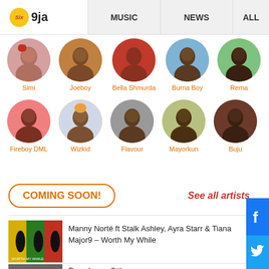Six 9ja — MUSIC | NEWS | ALL
[Figure (photo): Artist grid with circular profile photos: Simi, Joeboy, Bella Shmurda, Burna Boy, Rema (row 1); Fireboy DML, Wizkid, Flavour, Mayorkun, Buju (row 2)]
COMING SOON!
See all artists
[Figure (photo): Album art for Manny Norté ft Stalk Ashley, Ayra Starr & Tiana Major9 – Worth My While]
Manny Norté ft Stalk Ashley, Ayra Starr & Tiana Major9 – Worth My While
[Figure (photo): Album art for Poco Lee – Otilo]
Poco Lee – Otilo